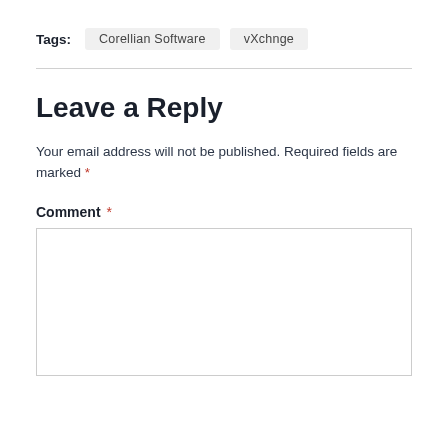Tags: Corellian Software  vXchnge
Leave a Reply
Your email address will not be published. Required fields are marked *
Comment *
[Figure (other): Empty comment textarea input box]